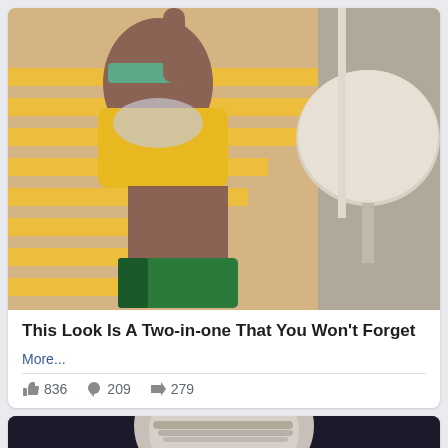[Figure (photo): Woman in yellow knit top and green tropical print bikini bottom, lying on yellow lounge chair with sunglasses and statement necklace, outdoor poolside setting with round table and umbrella]
This Look Is A Two-in-one That You Won't Forget
More...
836  209  279
[Figure (photo): Partial view of person with gray/silver hair, dark background, only top of head visible]